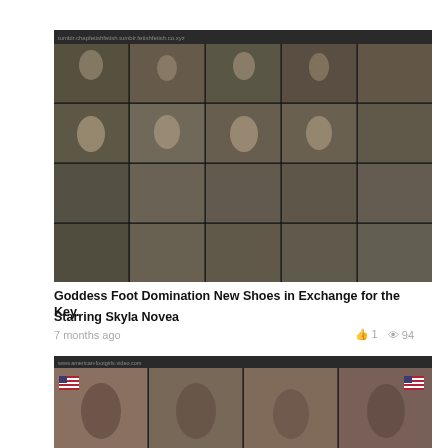[Figure (photo): Video thumbnail grid showing multiple scenes from a foot domination video, dark header bar with URL text]
Goddess Foot Domination New Shoes in Exchange for the Key.
Starring Skyla Novea
7 months ago   👍 1   👁 94
[Figure (photo): Second video thumbnail grid showing scenes with American flags and people at a desk]